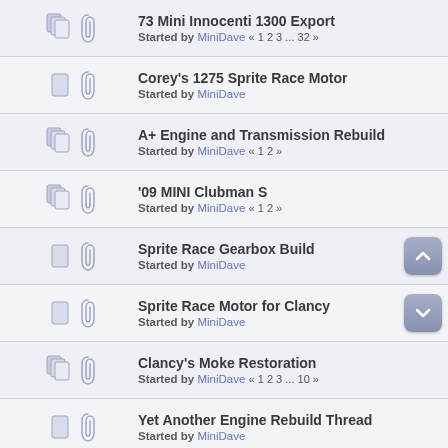73 Mini Innocenti 1300 Export — Started by MiniDave « 1 2 3 ... 32 »
Corey's 1275 Sprite Race Motor — Started by MiniDave
A+ Engine and Transmission Rebuild — Started by MiniDave « 1 2 »
'09 MINI Clubman S — Started by MiniDave « 1 2 »
Sprite Race Gearbox Build — Started by MiniDave
Sprite Race Motor for Clancy — Started by MiniDave
Clancy's Moke Restoration — Started by MiniDave « 1 2 3 ... 10 »
Yet Another Engine Rebuild Thread — Started by MiniDave
998 Automatic #2 Rebuild — Started by MiniDave « 1 2 3 ... 5 »